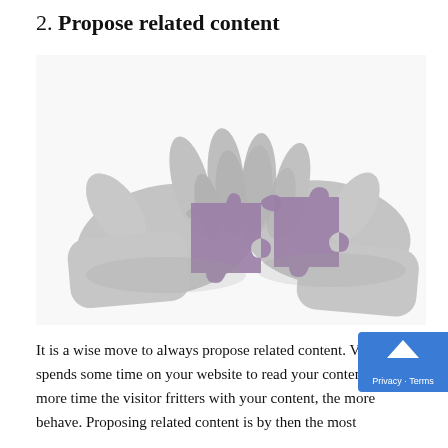2. Propose related content
[Figure (photo): Two hands holding two interlocking puzzle pieces colored in purple/mauve against a white background, in black and white photography with the puzzle pieces in color.]
It is a wise move to always propose related content. Visitor spends some time on your website to read your content, the more time the visitor fritters with your content, the more behave. Proposing related content is by then the most...